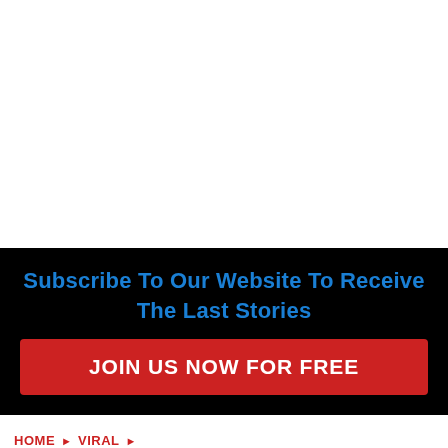Subscribe To Our Website To Receive The Last Stories
JOIN US NOW FOR FREE
HOME ► VIRAL ►
10 Crazy Encounters Of UFOs, Speeding Trains, And The Railroads – Listverse